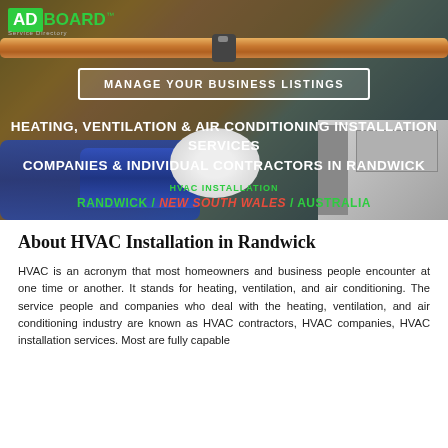[Figure (photo): HVAC installation background photo showing copper pipes and ductwork in an industrial/mechanical setting with dark overlay]
AD BOARD™ Service Directory
MANAGE YOUR BUSINESS LISTINGS
HEATING, VENTILATION & AIR CONDITIONING INSTALLATION SERVICES COMPANIES & INDIVIDUAL CONTRACTORS IN RANDWICK
HVAC INSTALLATION
RANDWICK / NEW SOUTH WALES / AUSTRALIA
About HVAC Installation in Randwick
HVAC is an acronym that most homeowners and business people encounter at one time or another. It stands for heating, ventilation, and air conditioning. The service people and companies who deal with the heating, ventilation, and air conditioning industry are known as HVAC contractors, HVAC companies, HVAC installation services. Most are fully capable